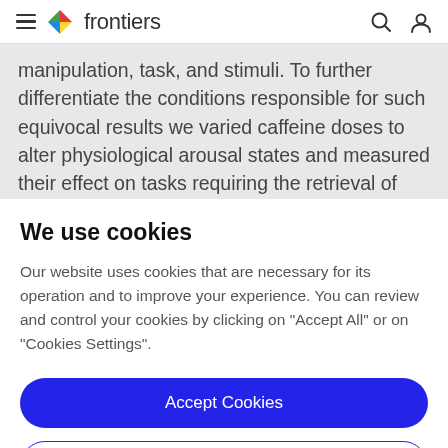frontiers
manipulation, task, and stimuli. To further differentiate the conditions responsible for such equivocal results we varied caffeine doses to alter physiological arousal states and measured their effect on tasks requiring the retrieval of local versus global spatial knowledge. In a
We use cookies
Our website uses cookies that are necessary for its operation and to improve your experience. You can review and control your cookies by clicking on "Accept All" or on "Cookies Settings".
Accept Cookies
Cookies Settings